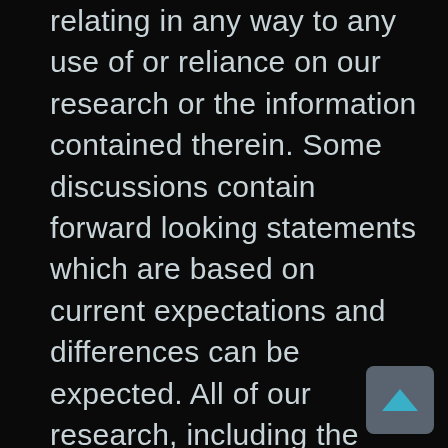relating in any way to any use of or reliance on our research or the information contained therein. Some discussions contain forward looking statements which are based on current expectations and differences can be expected. All of our research, including the estimates, opinions and information contained therein, reflects our judgment as of the publication or other dissemination date of the research and is subject to change without notice. Further, we expressly disclaim any responsibility to update such research. Investing involves substantial risk. Past